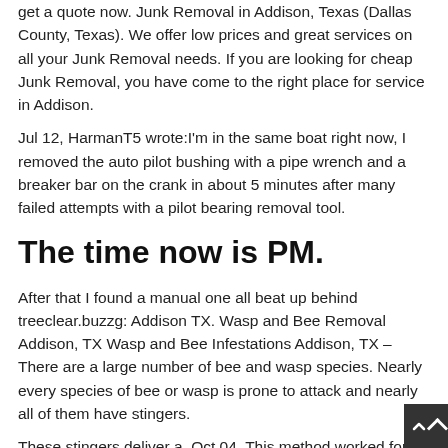get a quote now. Junk Removal in Addison, Texas (Dallas County, Texas). We offer low prices and great services on all your Junk Removal needs. If you are looking for cheap Junk Removal, you have come to the right place for service in Addison.
Jul 12, HarmanT5 wrote:I'm in the same boat right now, I removed the auto pilot bushing with a pipe wrench and a breaker bar on the crank in about 5 minutes after many failed attempts with a pilot bearing removal tool.
The time now is PM.
After that I found a manual one all beat up behind treeclear.buzzg: Addison TX. Wasp and Bee Removal Addison, TX Wasp and Bee Infestations Addison, TX –There are a large number of bee and wasp species. Nearly every species of bee or wasp is prone to attack and nearly all of them have stingers.
These stingers deliver a. Oct 04, This method worked for me, taking the pilot bushing out of a 53 Cadillac crank. The bolt threaded the bushing, and when the end of the bolt hit the crank, kept turning the bolt and the bushing started to come out. He